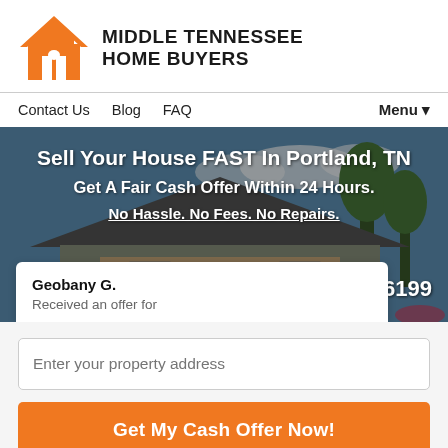[Figure (logo): Middle Tennessee Home Buyers logo with orange house icon and bold black text]
Contact Us  Blog  FAQ  Menu ▼
[Figure (photo): Background photo of a residential house with roof and trees under blue sky]
Sell Your House FAST In Portland, TN
Get A Fair Cash Offer Within 24 Hours.
No Hassle. No Fees. No Repairs.
6199
Geobany G.
Received an offer for
Enter your property address
Get My Cash Offer Now!